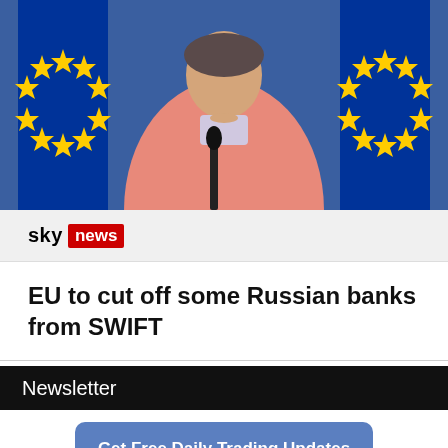[Figure (photo): Woman in pink jacket speaking at podium with EU flags in background, Sky News broadcast screenshot]
[Figure (logo): Sky News logo with 'sky' in black text and 'news' in white text on red background]
EU to cut off some Russian banks from SWIFT
Newsletter
Get Free Daily Trading Updates & Opportunities To Your Inbox